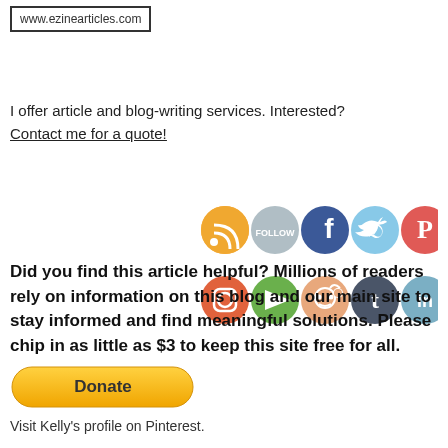[Figure (logo): www.ezinearticles.com logo in a bordered box]
I offer article and blog-writing services. Interested?
Contact me for a quote!
[Figure (infographic): Social media icons: RSS, Follow, Facebook, Twitter, Pinterest, Instagram, YouTube, Reddit, Tumblr, LinkedIn]
Did you find this article helpful? Millions of readers rely on information on this blog and our main site to stay informed and find meaningful solutions. Please chip in as little as $3 to keep this site free for all.
[Figure (other): PayPal Donate button in yellow/gold rounded rectangle]
Visit Kelly's profile on Pinterest.